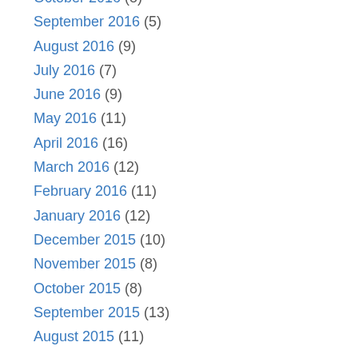October 2016 (8)
September 2016 (5)
August 2016 (9)
July 2016 (7)
June 2016 (9)
May 2016 (11)
April 2016 (16)
March 2016 (12)
February 2016 (11)
January 2016 (12)
December 2015 (10)
November 2015 (8)
October 2015 (8)
September 2015 (13)
August 2015 (11)